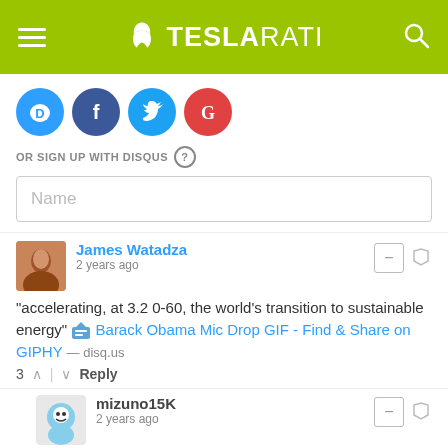TESLARATI
[Figure (logo): Social login icons: Disqus, Facebook, Twitter, Google]
OR SIGN UP WITH DISQUS
Name
James Watadza
2 years ago
"accelerating, at 3.2 0-60, the world's transition to sustainable energy" Barack Obama Mic Drop GIF - Find & Share on GIPHY — disq.us
3 Reply
mizuno15K
2 years ago
Global sales trends are faring well for Tesla during tail-end pandemic recovery for markets that have flattened the curve. Tesla China sales in June also increased by 30% compared to May, which was in itself...